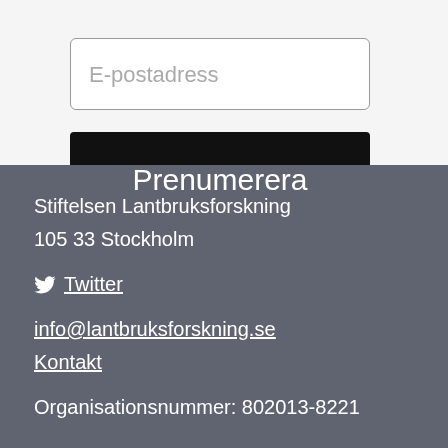E-postadress
Prenumerera
Stiftelsen Lantbruksforskning
105 33 Stockholm
Twitter
info@lantbruksforskning.se
Kontakt
Organisationsnummer: 802013-8221